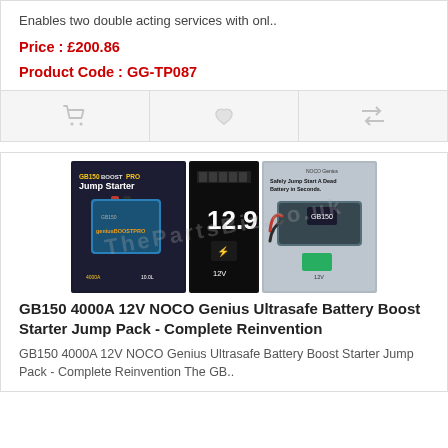Enables two double acting services with onl..
Price : £200.86
Product Code : GG-TP087
[Figure (screenshot): Action bar with cart, wishlist, and compare icons]
[Figure (photo): GB150 4000A 12V NOCO Genius Ultrasafe Battery Boost Starter Jump Pack product packaging shown in three views with watermark overlay]
GB150 4000A 12V NOCO Genius Ultrasafe Battery Boost Starter Jump Pack - Complete Reinvention
GB150 4000A 12V NOCO Genius Ultrasafe Battery Boost Starter Jump Pack - Complete Reinvention The GB..